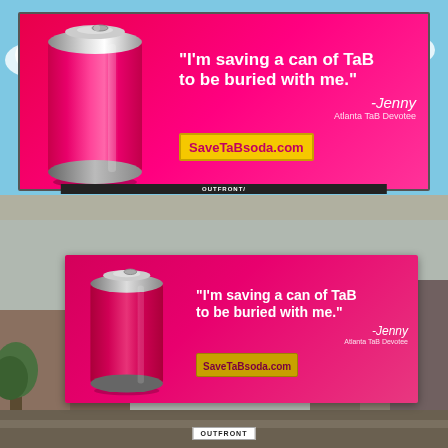[Figure (photo): Top photo: rendered digital mockup of a billboard against a blue sky. Billboard has a hot-pink/magenta gradient background with a large pink TaB soda can on the left, and bold white quote text on the right: "I'm saving a can of TaB to be buried with me." with attribution -Jenny, Atlanta TaB Devotee, and a yellow SaveTaBsoda.com URL box. OUTFRONT logo on the billboard base.]
[Figure (photo): Bottom photo: real-world street photograph of the same TaB soda billboard installed on a metal structure in an urban area with buildings and trees visible. Same design: magenta billboard with pink can, quote text, attribution, and SaveTaBsoda.com URL. OUTFRONT sign on base.]